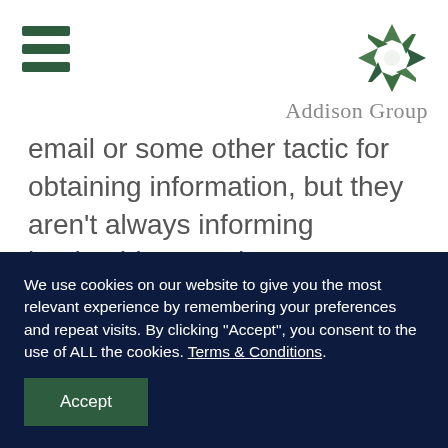Addison Group
email or some other tactic for obtaining information, but they aren't always informing leadership. In order to get more reports, start the conversation with your employees. Encourage, and perhaps even incentivize, the need for this information.
Plan for Loss
We use cookies on our website to give you the most relevant experience by remembering your preferences and repeat visits. By clicking “Accept”, you consent to the use of ALL the cookies. Terms & Conditions.